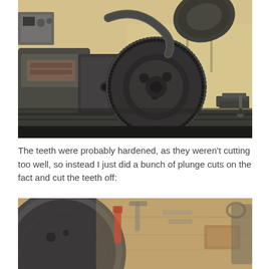[Figure (photo): A large industrial lathe or machine tool in a workshop, showing a heavy flywheel with gear teeth mounted on the spindle. The machine sits on a metal bed rail. Background shows a wooden wall and shelving with tools. A circular dust guard or shield is visible at the top.]
The teeth were probably hardened, as they weren't cutting too well, so instead I just did a bunch of plunge cuts on the fact and cut the teeth off:
[Figure (photo): Close-up of a circular metal disc (flywheel face) on a workbench, with various tools including a red-handled tool and wrenches visible in the blurred background. The metal disc shows machining marks.]